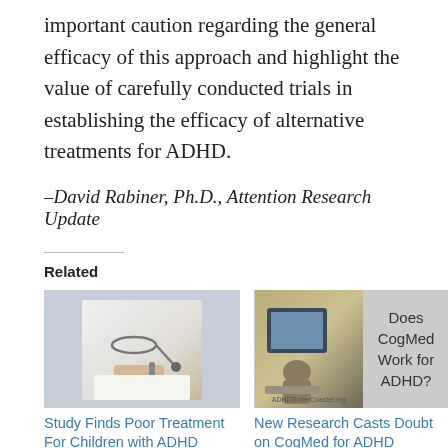important caution regarding the general efficacy of this approach and highlight the value of carefully conducted trials in establishing the efficacy of alternative treatments for ADHD.
–David Rabiner, Ph.D., Attention Research Update
Related
[Figure (photo): Photo of a doctor in a white coat with a stethoscope, writing on a clipboard]
Study Finds Poor Treatment For Children with ADHD
March 18, 2015
In "ADHD News & Research"
[Figure (photo): Photo of a person using a computer, with text overlay reading 'Does CogMed Work for ADHD?' and watermark 'ADHDRollerCoaster.org']
New Research Casts Doubt on CogMed for ADHD
April 13, 2014
In "ADHD News & Research"